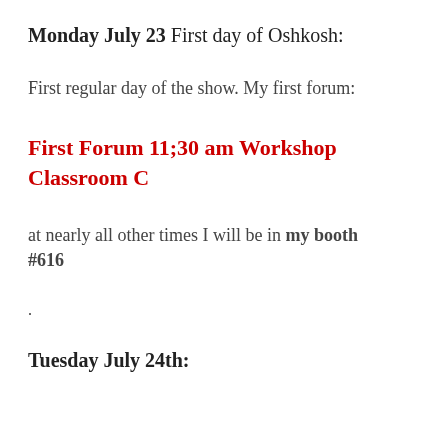Monday July 23 First day of Oshkosh:
First regular day of the show. My first forum:
First Forum 11;30 am Workshop Classroom C
at nearly all other times I will be in my booth #616
.
Tuesday July 24th: